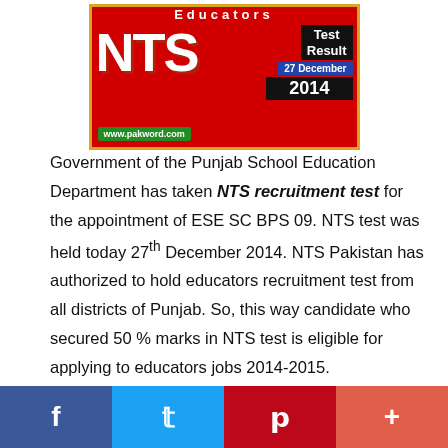[Figure (logo): NTS Test Result banner for Educators recruitment, 27 December 2014, showing red background with NTS in large white letters, 'Test Result' text in black box, '27 December' in blue box, '2014' in black box, with www.pakword.com URL in green strip]
Government of the Punjab School Education Department has taken NTS recruitment test for the appointment of ESE SC BPS 09. NTS test was held today 27th December 2014. NTS Pakistan has authorized to hold educators recruitment test from all districts of Punjab. So, this way candidate who secured 50 % marks in NTS test is eligible for applying to educators jobs 2014-2015.